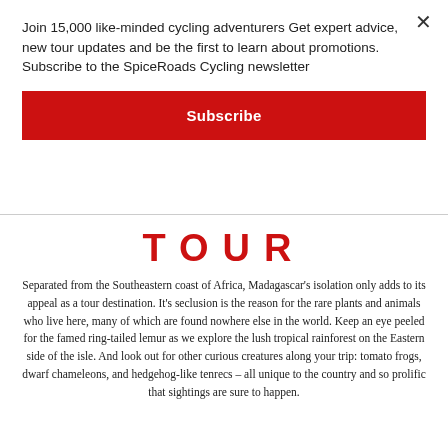Join 15,000 like-minded cycling adventurers Get expert advice, new tour updates and be the first to learn about promotions. Subscribe to the SpiceRoads Cycling newsletter
Subscribe
TOUR
Separated from the Southeastern coast of Africa, Madagascar's isolation only adds to its appeal as a tour destination. It's seclusion is the reason for the rare plants and animals who live here, many of which are found nowhere else in the world. Keep an eye peeled for the famed ring-tailed lemur as we explore the lush tropical rainforest on the Eastern side of the isle. And look out for other curious creatures along your trip: tomato frogs, dwarf chameleons, and hedgehog-like tenrecs – all unique to the country and so prolific that sightings are sure to happen.